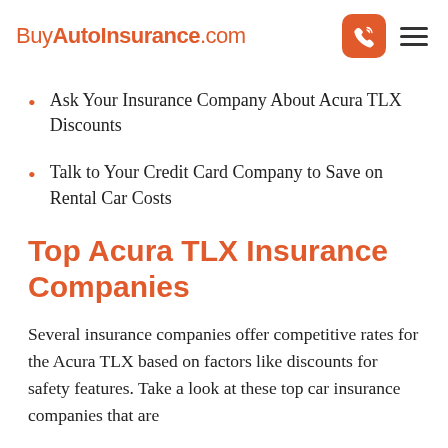BuyAutoInsurance.com
Ask Your Insurance Company About Acura TLX Discounts
Talk to Your Credit Card Company to Save on Rental Car Costs
Top Acura TLX Insurance Companies
Several insurance companies offer competitive rates for the Acura TLX based on factors like discounts for safety features. Take a look at these top car insurance companies that are